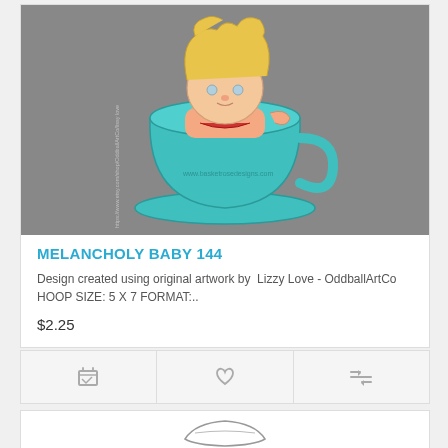[Figure (illustration): Embroidery design showing a cartoon child with messy blonde hair sitting inside a large teal/turquoise teacup on a saucer, against a gray background. Watermark text 'www.basketrosedesigns.com' visible on the cup. Vertical text on left reads 'https://www.etsy.com/shop/OddballArtCo/lissy love']
MELANCHOLY BABY 144
Design created using original artwork by  Lizzy Love - OddballArtCo
HOOP SIZE: 5 X 7 FORMAT:..
$2.25
[Figure (illustration): Bottom product card showing partial view of another embroidery design outline]